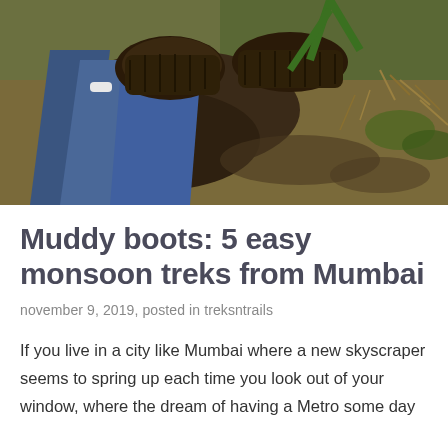[Figure (photo): Close-up photo taken from above looking down at muddy boots/shoes covered in mud, wearing blue jeans, standing on muddy ground with dry grass and some green plants visible.]
Muddy boots: 5 easy monsoon treks from Mumbai
november 9, 2019, posted in treksntrails
If you live in a city like Mumbai where a new skyscraper seems to spring up each time you look out of your window, where the dream of having a Metro some day